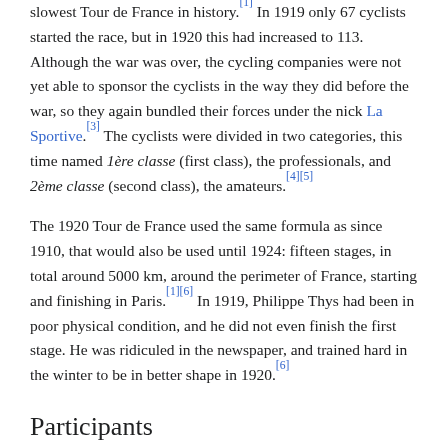slowest Tour de France in history.[1] In 1919 only 67 cyclists started the race, but in 1920 this had increased to 113. Although the war was over, the cycling companies were not yet able to sponsor the cyclists in the way they did before the war, so they again bundled their forces under the nick La Sportive.[3] The cyclists were divided in two categories, this time named 1ère classe (first class), the professionals, and 2ème classe (second class), the amateurs.[4][5]
The 1920 Tour de France used the same formula as since 1910, that would also be used until 1924: fifteen stages, in total around 5000 km, around the perimeter of France, starting and finishing in Paris.[1][6] In 1919, Philippe Thys had been in poor physical condition, and he did not even finish the first stage. He was ridiculed in the newspaper, and trained hard in the winter to be in better shape in 1920.[6]
Participants
For a more comprehensive list, see List of cyclists in the 1920 Tour de France.
There were 138 cyclists enscribed for the race, of which 113 started